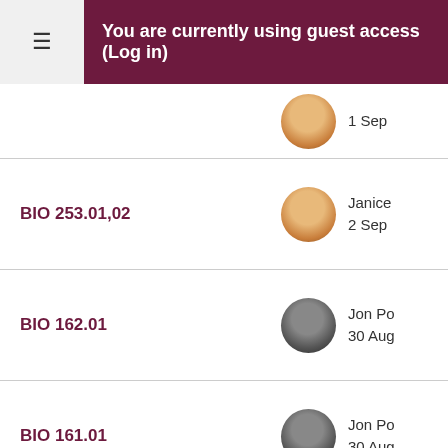You are currently using guest access (Log in)
BIO 253.01,02 — Janice, 2 Sep
BIO 162.01 — Jon Po, 30 Aug
BIO 161.01 — Jon Po, 30 Aug
BIO 140.PO1 — Lyndse, 2 Oct 2
BIO 140.I2 — Ma, 31
BIO 140.I1 — Matthe, 31 Aug